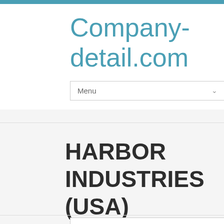Company-detail.com
Menu
HARBOR INDUSTRIES (USA) INC.